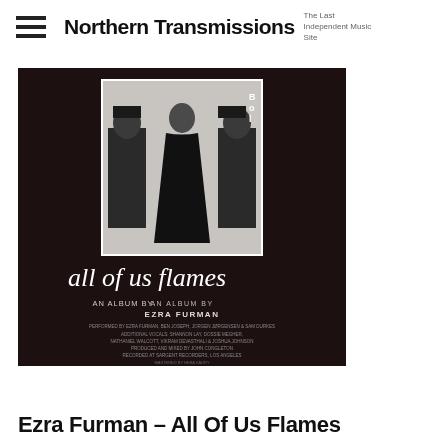Northern Transmissions — The Last Independent Music Site
[Figure (photo): Album cover for 'all of us flames' by Ezra Furman. Dark background with a black-and-white photo inset showing a person in a black dress flanked by two police officers. Below the photo, stylized italic text reads 'all of us flames', followed by small text 'AN ALBUM BY EZRA FURMAN' and production credits.]
Ezra Furman – All Of Us Flames